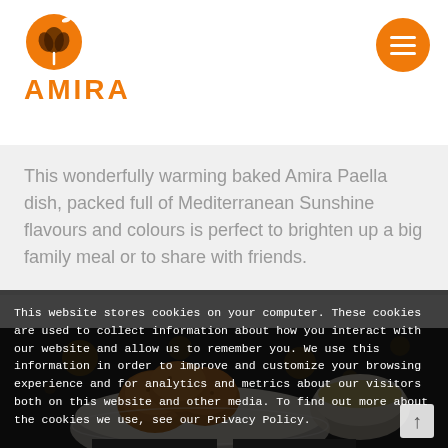[Figure (logo): Amira logo: orange circular icon with tree/grain motif above the text AMIRA in bold orange letters]
This wonderfully warming baked Amira Paella dish, packed full of Mediterranean Sunshine flavours and colours is perfect to brighten up a big family meal or to share with friends.
[Figure (photo): Food photo: breaded fried balls in a white decorative bowl with a cup of dipping sauce, dark moody background with bokeh lights]
This website stores cookies on your computer. These cookies are used to collect information about how you interact with our website and allow us to remember you. We use this information in order to improve and customize your browsing experience and for analytics and metrics about our visitors both on this website and other media. To find out more about the cookies we use, see our Privacy Policy.
ACCEPT
REJECT